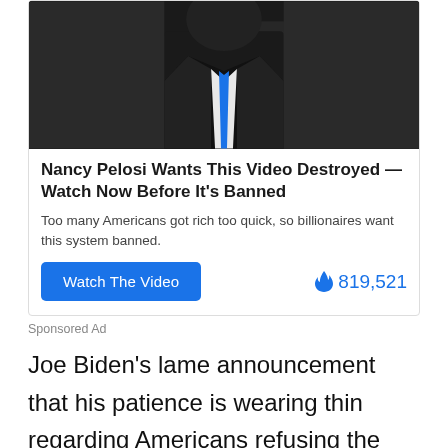[Figure (photo): Photo of a person in a dark suit with a blue tie, seen from above/front, dark background]
Nancy Pelosi Wants This Video Destroyed — Watch Now Before It's Banned
Too many Americans got rich too quick, so billionaires want this system banned.
Watch The Video   🔥 819,521
Sponsored Ad
Joe Biden's lame announcement that his patience is wearing thin regarding Americans refusing the vaccine is a wake-up call of how desirous he is of setting up a dictatorship in America. The old president has come out and threatened that he would use his executive powers to force the remaining 80 million people